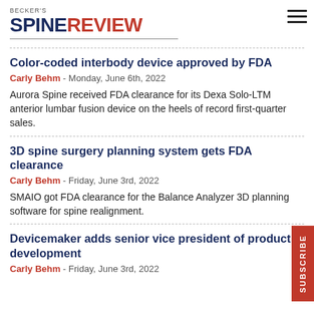BECKER'S SPINE REVIEW
Color-coded interbody device approved by FDA
Carly Behm - Monday, June 6th, 2022
Aurora Spine received FDA clearance for its Dexa Solo-LTM anterior lumbar fusion device on the heels of record first-quarter sales.
3D spine surgery planning system gets FDA clearance
Carly Behm - Friday, June 3rd, 2022
SMAIO got FDA clearance for the Balance Analyzer 3D planning software for spine realignment.
Devicemaker adds senior vice president of product development
Carly Behm - Friday, June 3rd, 2022